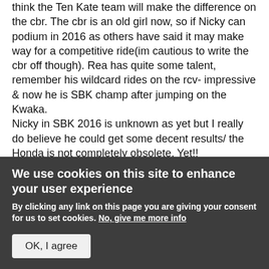think the Ten Kate team will make the difference on the cbr. The cbr is an old girl now, so if Nicky can podium in 2016 as others have said it may make way for a competitive ride(im cautious to write the cbr off though). Rea has quite some talent, remember his wildcard rides on the rcv- impressive & now he is SBK champ after jumping on the Kwaka.
Nicky in SBK 2016 is unknown as yet but I really do believe he could get some decent results/ the Honda is not completely obsolete, Yet!!
Log in or register to post comments
Day 2 one 10th
We use cookies on this site to enhance your user experience
By clicking any link on this page you are giving your consent for us to set cookies. No, give me more info
OK, I agree